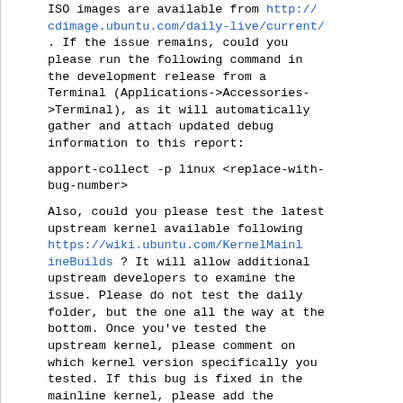ISO images are available from http://cdimage.ubuntu.com/daily-live/current/. If the issue remains, could you please run the following command in the development release from a Terminal (Applications->Accessories->Terminal), as it will automatically gather and attach updated debug information to this report:
apport-collect -p linux <replace-with-bug-number>
Also, could you please test the latest upstream kernel available following https://wiki.ubuntu.com/KernelMainlineBuilds ? It will allow additional upstream developers to examine the issue. Please do not test the daily folder, but the one all the way at the bottom. Once you've tested the upstream kernel, please comment on which kernel version specifically you tested. If this bug is fixed in the mainline kernel, please add the following tags: